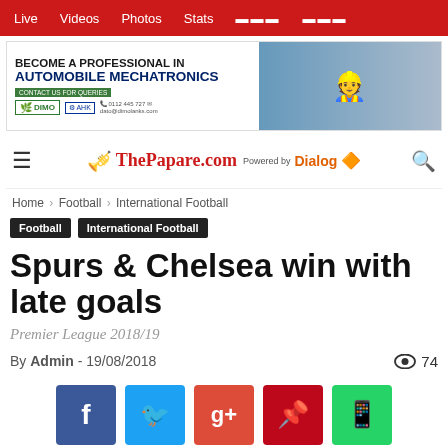Live  Videos  Photos  Stats
[Figure (photo): Advertisement banner: BECOME A PROFESSIONAL IN AUTOMOBILE MECHATRONICS - DIMO AHK logos]
[Figure (logo): ThePapare.com logo powered by Dialog]
Home > Football > International Football
Football  International Football
Spurs & Chelsea win with late goals
Premier League 2018/19
By Admin - 19/08/2018   74
[Figure (infographic): Social share buttons: Facebook, Twitter, Google+, Pinterest, WhatsApp]